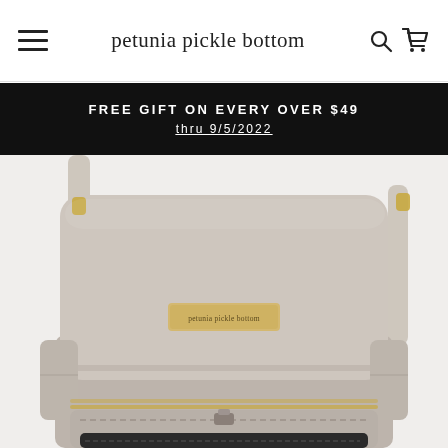petunia pickle bottom
FREE GIFT ON EVERY OVER $49 thru 9/5/2022
[Figure (photo): A taupe/grey suede-like messenger diaper bag from Petunia Pickle Bottom shown from the front, with a flap closure, gold hardware logo plate reading 'petunia pickle bottom', adjustable shoulder strap, side pockets, and a bottom zipper compartment visible. The bag sits against a light grey-white background.]